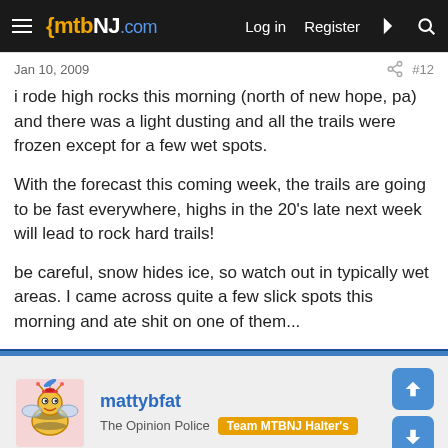mtbNJ.com — Log in  Register
Jan 10, 2009   #12
i rode high rocks this morning (north of new hope, pa) and there was a light dusting and all the trails were frozen except for a few wet spots.

With the forecast this coming week, the trails are going to be fast everywhere, highs in the 20's late next week will lead to rock hard trails!

be careful, snow hides ice, so watch out in typically wet areas. I came across quite a few slick spots this morning and ate shit on one of them...
mattybfat
The Opinion Police  Team MTBNJ Halter's
Jan 10, 2009   #13